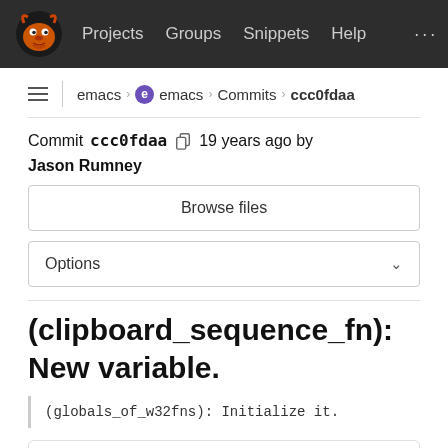GNU | Projects   Groups   Snippets   Help   ...
emacs > emacs > Commits > ccc0fdaa
Commit ccc0fdaa  19 years ago by Jason Rumney
Browse files
Options
(clipboard_sequence_fn): New variable.
(globals_of_w32fns): Initialize it.
parent 0390f991